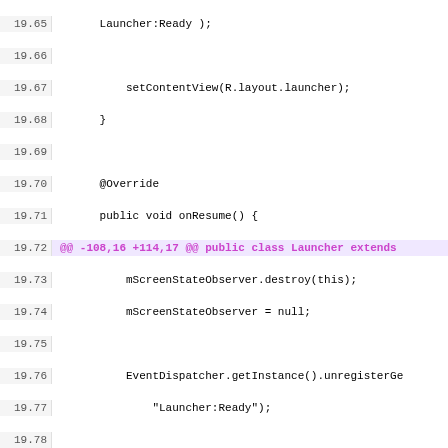[Figure (screenshot): Code diff view showing Java source code for Launcher Android app, with line numbers, diff markers, and syntax highlighting. Lines 19.65-20.8 visible including @Override methods, mScreenStateObserver, EventDispatcher, mContactService, mApps, mSettings.destroy() additions, onNewIntent method, and new file diff headers.]